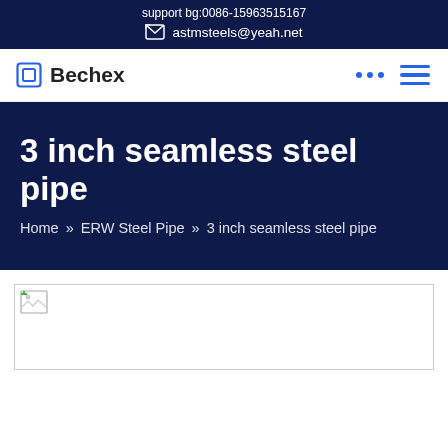support bg:0086-15963515167 | astmsteels@yeah.net
Bechex
3 inch seamless steel pipe
Home » ERW Steel Pipe » 3 inch seamless steel pipe
[Figure (photo): Product image placeholder for 3 inch seamless steel pipe (broken image icon shown)]